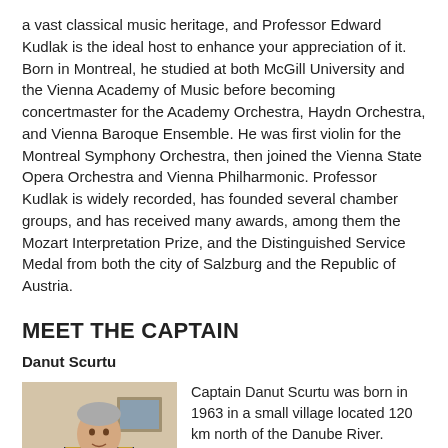a vast classical music heritage, and Professor Edward Kudlak is the ideal host to enhance your appreciation of it. Born in Montreal, he studied at both McGill University and the Vienna Academy of Music before becoming concertmaster for the Academy Orchestra, Haydn Orchestra, and Vienna Baroque Ensemble. He was first violin for the Montreal Symphony Orchestra, then joined the Vienna State Opera Orchestra and Vienna Philharmonic. Professor Kudlak is widely recorded, has founded several chamber groups, and has received many awards, among them the Mozart Interpretation Prize, and the Distinguished Service Medal from both the city of Salzburg and the Republic of Austria.
MEET THE CAPTAIN
Danut Scurtu
[Figure (photo): Photo of Captain Danut Scurtu in naval uniform, standing indoors]
Captain Danut Scurtu was born in 1963 in a small village located 120 km north of the Danube River. Growing up, he had a neighbor that served in the Romanian Military Navy and would often see him wearing his uniform, a sight that made quite an impression on young Danut. Coupled with the neighbor's stories about all the places he'd visited and experiences he'd had,